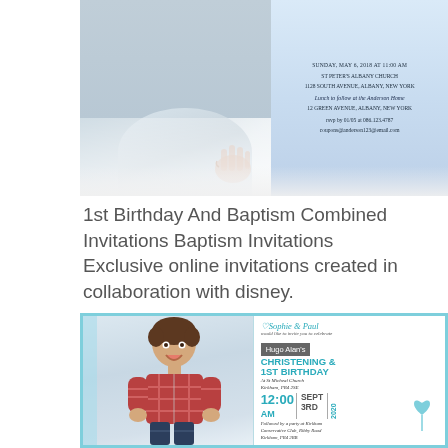[Figure (photo): Top portion showing a baby photo on left and a baptism invitation card on right with blue gradient background]
1st Birthday And Baptism Combined Invitations Baptism Invitations Exclusive online invitations created in collaboration with disney.
[Figure (photo): Bottom invitation card showing a toddler boy in plaid shirt on left and a teal-bordered christening & 1st birthday invitation for Hugo Alan on right, with details: Sophie & Paul, St Micheal Church, Kirkham PR4 2SE, 12:00 AM, SEPT 3RD, 2020, followed by party at Kirkham Conservative Club, Ribby Road, Kirkham PR4 2RB]